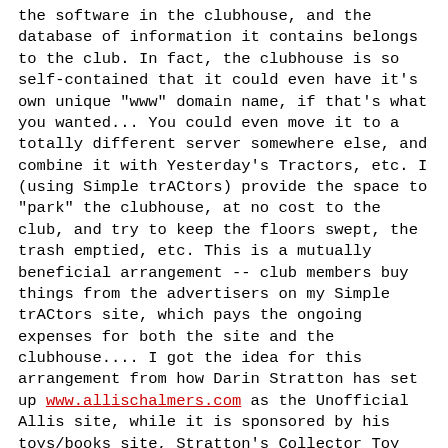the software in the clubhouse, and the database of information it contains belongs to the club. In fact, the clubhouse is so self-contained that it could even have it's own unique "www" domain name, if that's what you wanted... You could even move it to a totally different server somewhere else, and combine it with Yesterday's Tractors, etc. I (using Simple trACtors) provide the space to "park" the clubhouse, at no cost to the club, and try to keep the floors swept, the trash emptied, etc. This is a mutually beneficial arrangement -- club members buy things from the advertisers on my Simple trACtors site, which pays the ongoing expenses for both the site and the clubhouse.... I got the idea for this arrangement from how Darin Stratton has set up www.allischalmers.com as the Unofficial Allis site, while it is sponsored by his toys/books site, Stratton's Collector Toy Network, at www.3000toys.com Why did I do it this way? 1) So the club is an independent club and can steer their own way. They elect their own officers and control their own money and their own destiny. 2) To give me something in return for the time and effort I spend doing all this -- someday, Simple trACtors may be worth something if it keeps growing... We'll see what the Internet grows up to